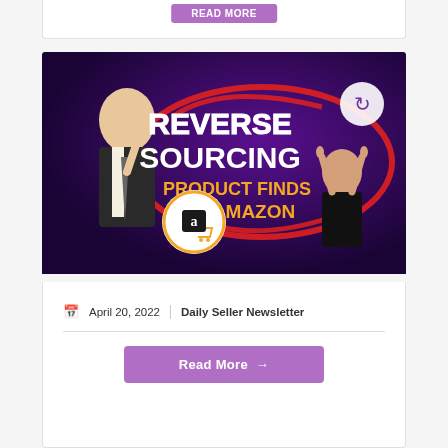[Figure (screenshot): Thumbnail image for a video/article about Reverse Sourcing Product Finds on Amazon, showing two men and bold text on a purple background with Amazon logo]
April 20, 2022   Daily Seller Newsletter
Read More →